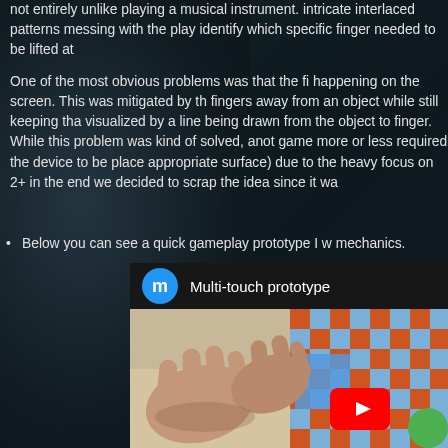not entirely unlike playing a musical instrument. intricate interlaced patterns messing with the play identify which specific finger needed to be lifted at
One of the most obvious problems was that the fi happening on the screen. This was mitigated by th fingers away from an object while still keeping tha visualized by a line being drawn from the object to finger. While this problem was kind of solved, anot game more or less required the device to be place appropriate surface) due to the heavy focus on 2+ in the end we decided to scrap the idea since it wa
Below you can see a quick gameplay prototype I w mechanics.
[Figure (screenshot): YouTube video thumbnail showing Multi-touch prototype. A blue circle with letter 'm' and the title 'Multi-touch prototype'. Below shows hands interacting with a touchscreen device showing a checkerboard pattern game. A YouTube play button is visible.]